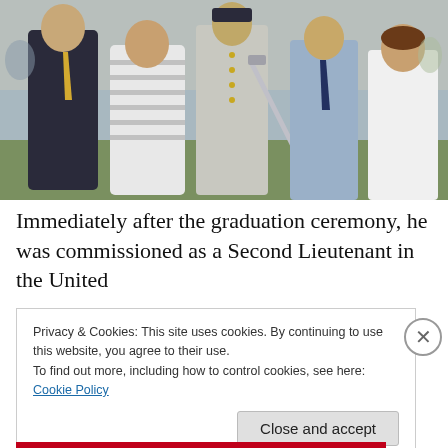[Figure (photo): Group photo of five people at a military graduation ceremony outdoors. A cadet in full dress uniform holding a ceremonial sword stands in the center, flanked by family members dressed formally.]
Immediately after the graduation ceremony, he was commissioned as a Second Lieutenant in the United
Privacy & Cookies: This site uses cookies. By continuing to use this website, you agree to their use.
To find out more, including how to control cookies, see here: Cookie Policy
Close and accept